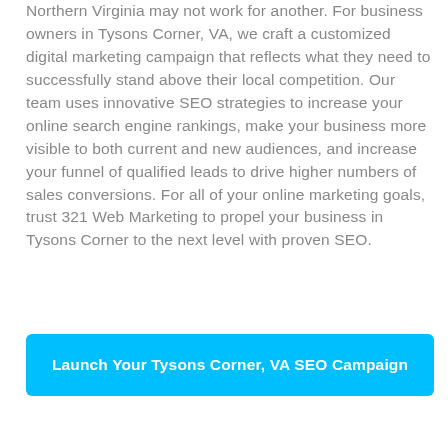Northern Virginia may not work for another. For business owners in Tysons Corner, VA, we craft a customized digital marketing campaign that reflects what they need to successfully stand above their local competition. Our team uses innovative SEO strategies to increase your online search engine rankings, make your business more visible to both current and new audiences, and increase your funnel of qualified leads to drive higher numbers of sales conversions. For all of your online marketing goals, trust 321 Web Marketing to propel your business in Tysons Corner to the next level with proven SEO.
Launch Your Tysons Corner, VA SEO Campaign